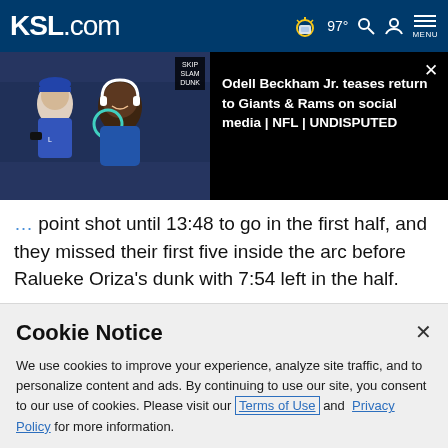KSL.com | 97° | Search | Account | MENU
[Figure (screenshot): Video thumbnail showing NFL players in blue uniforms on sideline, with a SKIP button badge in top right. Black panel beside it shows video title and close button.]
Odell Beckham Jr. teases return to Giants & Rams on social media | NFL | UNDISPUTED
point shot until 13:48 to go in the first half, and they missed their first five inside the arc before Ralueke Oriza's dunk with 7:54 left in the half.
Cookie Notice
We use cookies to improve your experience, analyze site traffic, and to personalize content and ads. By continuing to use our site, you consent to our use of cookies. Please visit our Terms of Use and Privacy Policy for more information.